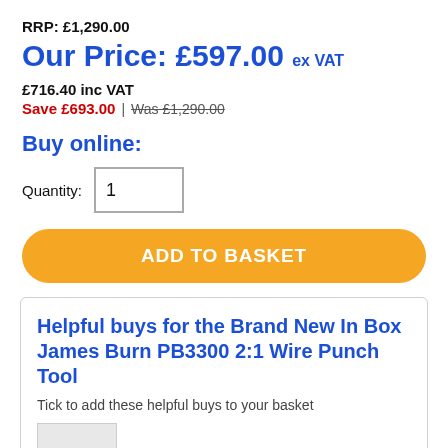RRP: £1,290.00
Our Price: £597.00 ex VAT
£716.40 inc VAT
Save £693.00 | Was £1,290.00
Buy online:
Quantity: 1
ADD TO BASKET
Helpful buys for the Brand New In Box James Burn PB3300 2:1 Wire Punch Tool
Tick to add these helpful buys to your basket